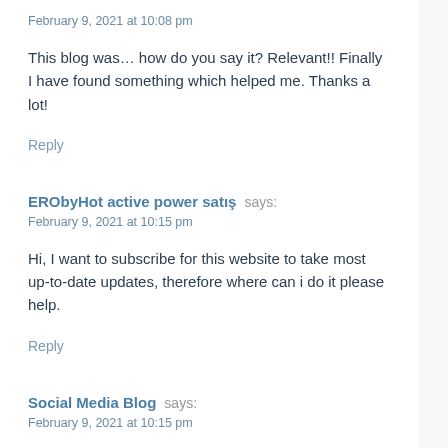February 9, 2021 at 10:08 pm
This blog was… how do you say it? Relevant!! Finally I have found something which helped me. Thanks a lot!
Reply
ERObyHot active power satış says:
February 9, 2021 at 10:15 pm
Hi, I want to subscribe for this website to take most up-to-date updates, therefore where can i do it please help.
Reply
Social Media Blog says:
February 9, 2021 at 10:15 pm
I'm amazed, I have to admit. Rarely do I come across a blog that's